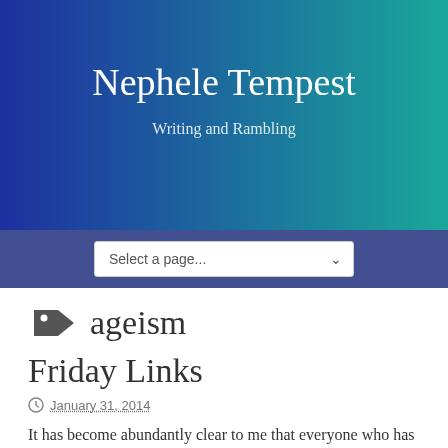Nephele Tempest
Writing and Rambling
Select a page...
ageism
Friday Links
January 31, 2014
It has become abundantly clear to me that everyone who has made publishing-related resolutions for 2014 is well on their way to keeping them. A steady avalanche of work began pouring onto my